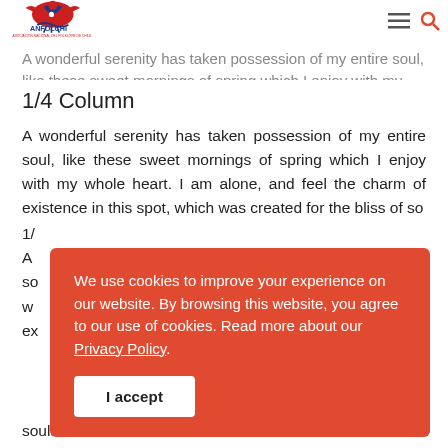[Figure (logo): ANFOLCHI logo - red and blue bird/figure illustration with text ANFOLCHI and ASOCIACION NACIONAL DEL FOLKLORE DE CHILE]
A wonderful serenity has taken possession of my entire soul, like these sweet mornings of spring which I enjoy with my whole heart. I am alone, and feel the charm of existence in this spot, which was created for the bliss of souls like mine.
1/4 Column
A wonderful serenity has taken possession of my entire soul, like these sweet mornings of spring which I enjoy with my whole heart. I am alone, and feel the charm of existence in this spot, which was created for the bliss of souls like mine.
We use cookies to improve your experience on our website. By browsing this website, you agree to our use of cookies. Read more about our Privacy Policy.
I accept
souls like mine.